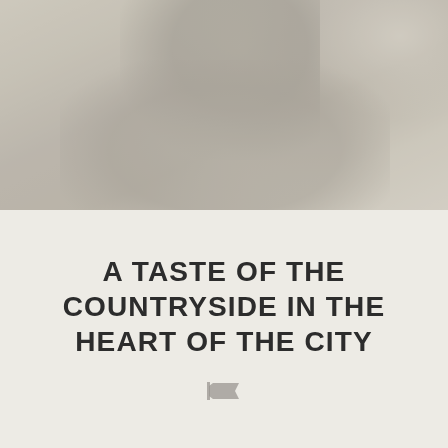[Figure (photo): A blurred, faded photograph of a person (silhouette/figure) against a muted, desaturated background in warm grey and beige tones. The image is heavily faded giving an ethereal, hazy look.]
A TASTE OF THE COUNTRYSIDE IN THE HEART OF THE CITY
[Figure (illustration): A small grey flag or banner icon/logo below the title text.]